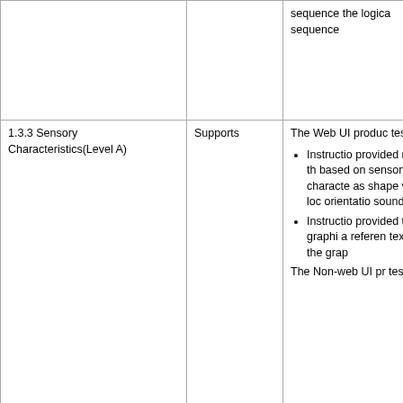| Criteria | Conformance Level | Remarks and Explanations |
| --- | --- | --- |
|  |  | sequence the logical sequence |
| 1.3.3 Sensory Characteristics(Level A) | Supports | The Web UI product tested for: • Instructions provided refer to the based on sensory characteristics as shape visual location orientation sound • Instructions provided to graphical a reference text alternative the graph

The Non-web UI product tested for: |